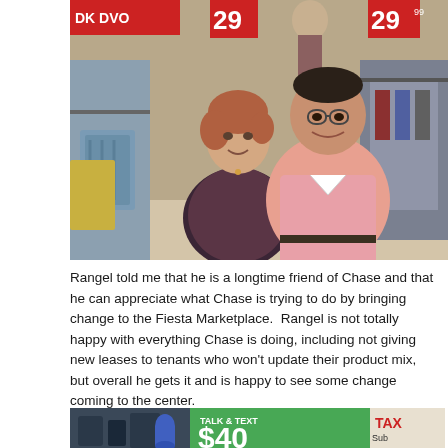[Figure (photo): A man and woman posing together inside a clothing store. The woman has short reddish-brown hair and wears a dark patterned cardigan. The man is taller, wearing glasses and a pink button-up shirt. Behind them are racks of clothes and sale signs reading '29'.]
Rangel told me that he is a longtime friend of Chase and that he can appreciate what Chase is trying to do by bringing change to the Fiesta Marketplace. Rangel is not totally happy with everything Chase is doing, including not giving new leases to tenants who won't update their product mix, but overall he gets it and is happy to see some change coming to the center.
[Figure (photo): Partial view of a retail storefront or signage showing 'TALK & TEXT $40' on a green background, along with other signs including 'TAX'.]